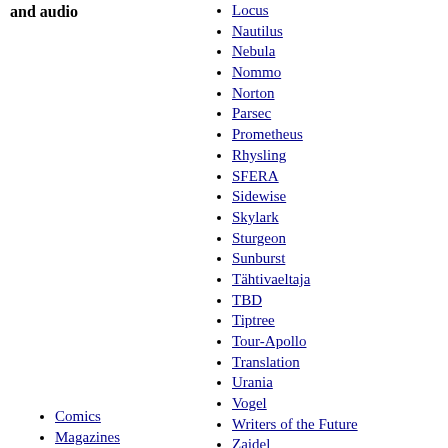and audio
Locus
Nautilus
Nebula
Nommo
Norton
Parsec
Prometheus
Rhysling
SFERA
Sidewise
Skylark
Sturgeon
Sunburst
Tähtivaeltaja
TBD
Tiptree
Tour-Apollo
Translation
Urania
Vogel
Writers of the Future
Zajdel
Comics
Magazines